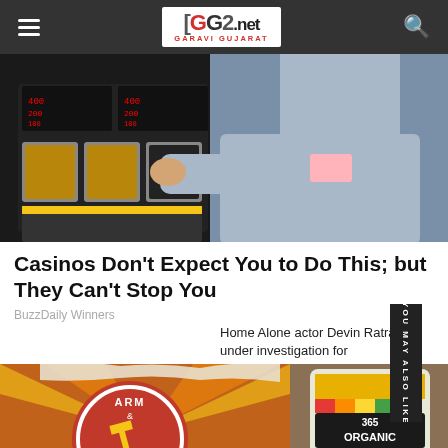GG2.net GARAVI GUJARAT
[Figure (photo): A person in a light blue shirt operating a slot machine in a casino]
Casinos Don't Expect You to Do This; but They Can't Stop You
BuzzDaily Winners
Home Alone actor Devin Ratray under investigation for allegedly...
[Figure (photo): Arm & Hammer baking soda box and 365 Organic product bottle]